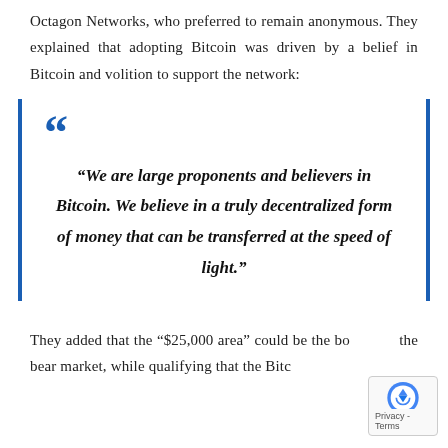Octagon Networks, who preferred to remain anonymous. They explained that adopting Bitcoin was driven by a belief in Bitcoin and volition to support the network:
"We are large proponents and believers in Bitcoin. We believe in a truly decentralized form of money that can be transferred at the speed of light."
They added that the “$25,000 area” could be the bo the bear market, while qualifying that the Bitc…